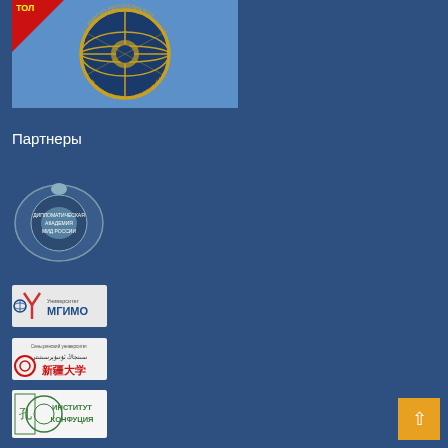[Figure (logo): Kyrgyz Republic Ministry of Foreign Affairs emblem on blue flag background with red corner ribbon]
Партнеры
[Figure (logo): Дипломатическая Академия МИД России circular emblem logo]
[Figure (logo): МГИМО Университет logo]
[Figure (logo): Синьцзянский университет logo with Arabic and Chinese text]
[Figure (logo): Институт Конфуция logo with green text]